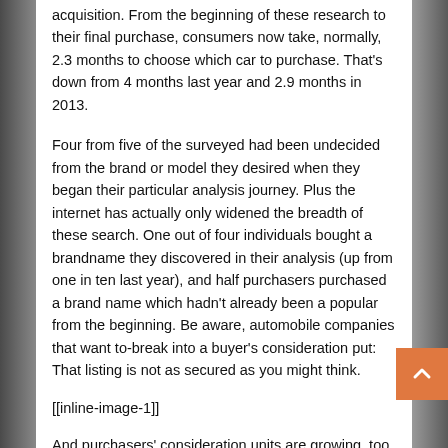acquisition. From the beginning of these research to their final purchase, consumers now take, normally, 2.3 months to choose which car to purchase. That's down from 4 months last year and 2.9 months in 2013.
Four from five of the surveyed had been undecided from the brand or model they desired when they began their particular analysis journey. Plus the internet has actually only widened the breadth of these search. One out of four individuals bought a brandname they discovered in their analysis (up from one in ten last year), and half purchasers purchased a brand name which hadn't already been a popular from the beginning. Be aware, automobile companies that want to-break into a buyer's consideration put: That listing is not as secured as you might think.
[[inline-image-1]]
And purchasers' consideration units are growing, too. In 2014, how many companies customers considered in the beginning has increased to 4, up from 3.6 brands in